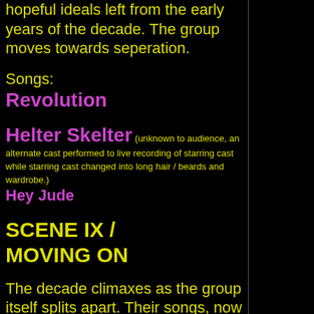hopeful ideals left from the early years of the decade. The group moves towards seperation.
Songs:
Revolution
Helter Skelter (unknown to audience, an alternate cast performed to live recording of starring cast while starring cast changed into long hair / beards and wardrobe.)
Hey Jude
SCENE IX / MOVING ON
The decade climaxes as the group itself splits apart. Their songs, now individual statements, are reflections of their